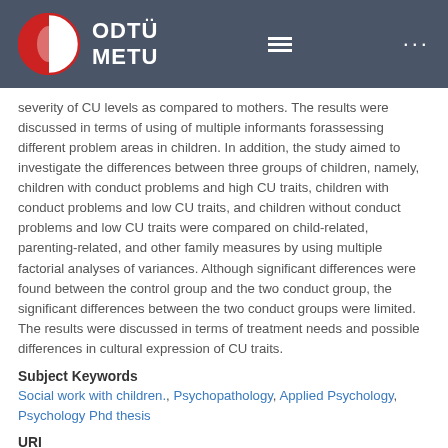ODTÜ METU
severity of CU levels as compared to mothers. The results were discussed in terms of using of multiple informants forassessing different problem areas in children. In addition, the study aimed to investigate the differences between three groups of children, namely, children with conduct problems and high CU traits, children with conduct problems and low CU traits, and children without conduct problems and low CU traits were compared on child-related, parenting-related, and other family measures by using multiple factorial analyses of variances. Although significant differences were found between the control group and the two conduct group, the significant differences between the two conduct groups were limited. The results were discussed in terms of treatment needs and possible differences in cultural expression of CU traits.
Subject Keywords
Social work with children., Psychopathology, Applied Psychology, Psychology Phd thesis
URI
http://etd.lib.metu.edu.tr/upload/3/12608520/index.pd